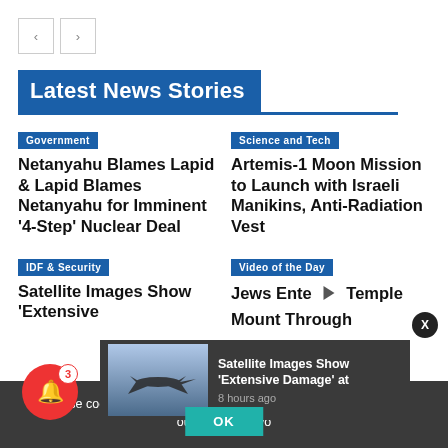[Figure (screenshot): Navigation back and forward arrow buttons]
Latest News Stories
Government — Netanyahu Blames Lapid & Lapid Blames Netanyahu for Imminent '4-Step' Nuclear Deal
Science and Tech — Artemis-1 Moon Mission to Launch with Israeli Manikins, Anti-Radiation Vest
IDF & Security — Satellite Images Show 'Extensive
Video of the Day — Jews Enter Temple Mount Through
We use cookies to ensure that we give you the best experience on our website. If yo
[Figure (photo): Thumbnail image of a military aircraft (F-35 type) in flight against a blue sky background]
Satellite Images Show 'Extensive Damage' at
8 hours ago